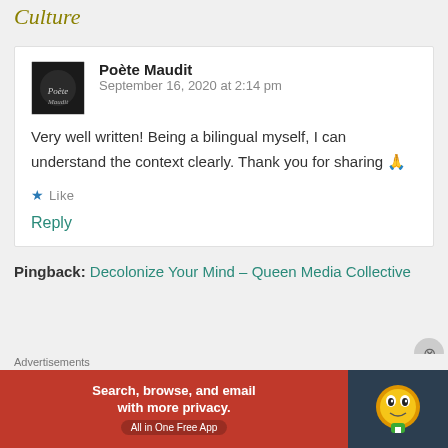Culture
Poète Maudit  September 16, 2020 at 2:14 pm
Very well written! Being a bilingual myself, I can understand the context clearly. Thank you for sharing 🙏
★ Like
Reply
Pingback: Decolonize Your Mind – Queen Media Collective
[Figure (screenshot): DuckDuckGo advertisement banner: Search, browse, and email with more privacy. All in One Free App]
Advertisements